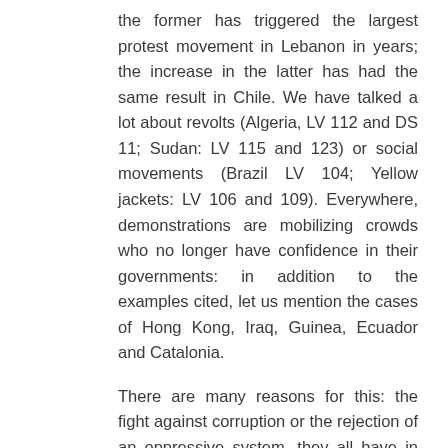the former has triggered the largest protest movement in Lebanon in years; the increase in the latter has had the same result in Chile. We have talked a lot about revolts (Algeria, LV 112 and DS 11; Sudan: LV 115 and 123) or social movements (Brazil LV 104; Yellow jackets: LV 106 and 109). Everywhere, demonstrations are mobilizing crowds who no longer have confidence in their governments: in addition to the examples cited, let us mention the cases of Hong Kong, Iraq, Guinea, Ecuador and Catalonia.
There are many reasons for this: the fight against corruption or the rejection of an oppressive system, they all have in common a willingness to be listened and the search for